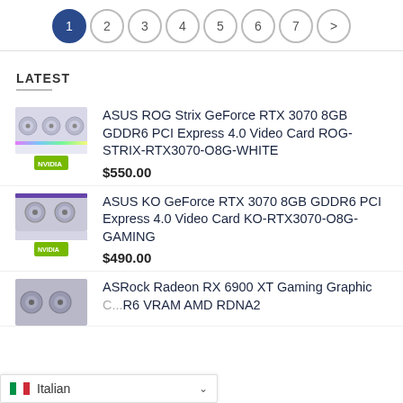Pagination: 1 (active), 2, 3, 4, 5, 6, 7, >
LATEST
ASUS ROG Strix GeForce RTX 3070 8GB GDDR6 PCI Express 4.0 Video Card ROG-STRIX-RTX3070-O8G-WHITE — $550.00
ASUS KO GeForce RTX 3070 8GB GDDR6 PCI Express 4.0 Video Card KO-RTX3070-O8G-GAMING — $490.00
ASRock Radeon RX 6900 XT Gaming Graphic ...R6 VRAM AMD RDNA2
Italian